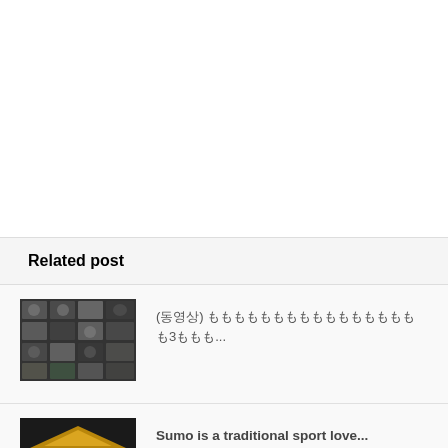Related post
[Figure (photo): Thumbnail image of a video wall with multiple screens showing faces and people]
(동영상) ももももももももももももももももも3ももも...
[Figure (photo): Thumbnail image of a sumo wrestling venue or building with ornate roof]
Sumo is a traditional sport love...